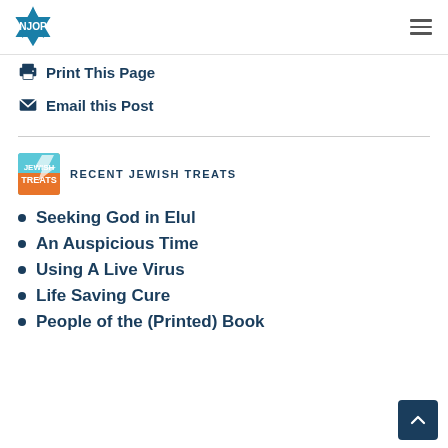NJOP
Print This Page
Email this Post
RECENT JEWISH TREATS
Seeking God in Elul
An Auspicious Time
Using A Live Virus
Life Saving Cure
People of the (Printed) Book